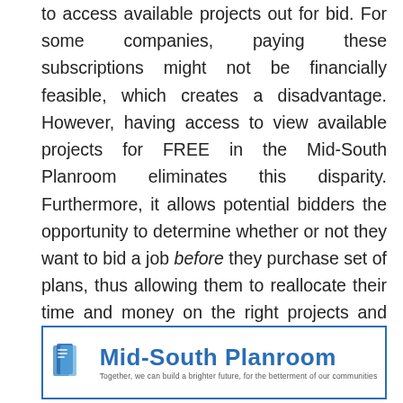to access available projects out for bid. For some companies, paying these subscriptions might not be financially feasible, which creates a disadvantage. However, having access to view available projects for FREE in the Mid-South Planroom eliminates this disparity. Furthermore, it allows potential bidders the opportunity to determine whether or not they want to bid a job before they purchase set of plans, thus allowing them to reallocate their time and money on the right projects and helping them grow their businesses.
[Figure (logo): Mid-South Planroom logo with blue book icon and tagline: Together, we can build a brighter future, for the betterment of our communities]